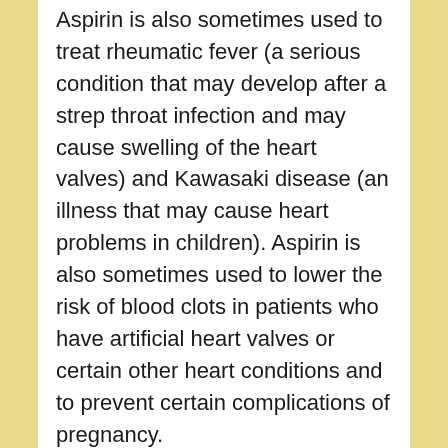Aspirin is also sometimes used to treat rheumatic fever (a serious condition that may develop after a strep throat infection and may cause swelling of the heart valves) and Kawasaki disease (an illness that may cause heart problems in children). Aspirin is also sometimes used to lower the risk of blood clots in patients who have artificial heart valves or certain other heart conditions and to prevent certain complications of pregnancy.
What special precautions should I